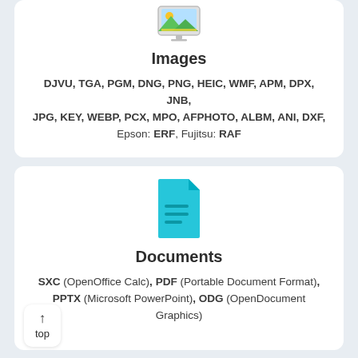[Figure (illustration): Image file type icon — landscape photo icon with mountains and sun]
Images
DJVU, TGA, PGM, DNG, PNG, HEIC, WMF, APM, DPX, JNB, JPG, KEY, WEBP, PCX, MPO, AFPHOTO, ALBM, ANI, DXF, Epson: ERF, Fujitsu: RAF
[Figure (illustration): Document file type icon — teal/cyan document with folded corner and text lines]
Documents
SXC (OpenOffice Calc), PDF (Portable Document Format), PPTX (Microsoft PowerPoint), ODG (OpenDocument Graphics)